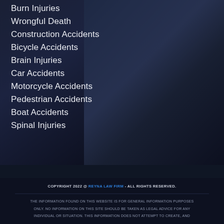Burn Injuries
Wrongful Death
Construction Accidents
Bicycle Accidents
Brain Injuries
Car Accidents
Motorcycle Accidents
Pedestrian Accidents
Boat Accidents
Spinal Injuries
COPYRIGHT 2022 @ REYNA LAW FIRM - ALL RIGHTS RESERVED. THE INFORMATION FOUND ON THIS WEBSITE IS FOR GENERAL INFORMATION PURPOSES ONLY. NO INFORMATION ON THIS SITE SHOULD BE TAKEN AS LEGAL ADVICE FOR ANY INDIVIDUAL OR SITUATION. THIS INFORMATION DOES NOT ATTEMPT TO CREATE, AND